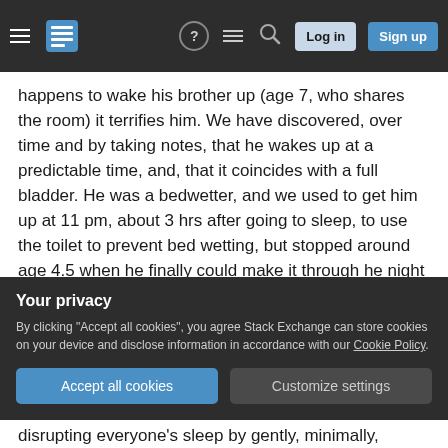Stack Exchange navigation bar with hamburger menu, logo, help, comments, search, Log in, Sign up
happens to wake his brother up (age 7, who shares the room) it terrifies him. We have discovered, over time and by taking notes, that he wakes up at a predictable time, and, that it coincides with a full bladder. He was a bedwetter, and we used to get him up at 11 pm, about 3 hrs after going to sleep, to use the toilet to prevent bed wetting, but stopped around age 4.5 when he finally could make it through he night or, get up on his own. That's when the "episodes" started. It wasn't until we talked to is pediatrician about it that we made the correlation.
Your privacy
By clicking "Accept all cookies", you agree Stack Exchange can store cookies on your device and disclose information in accordance with our Cookie Policy.
disrupting everyone's sleep by gently, minimally,